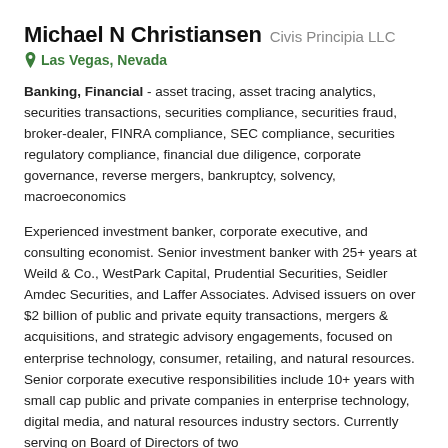Michael N Christiansen  Civis Principia LLC
Las Vegas, Nevada
Banking, Financial - asset tracing, asset tracing analytics, securities transactions, securities compliance, securities fraud, broker-dealer, FINRA compliance, SEC compliance, securities regulatory compliance, financial due diligence, corporate governance, reverse mergers, bankruptcy, solvency, macroeconomics
Experienced investment banker, corporate executive, and consulting economist. Senior investment banker with 25+ years at Weild & Co., WestPark Capital, Prudential Securities, Seidler Amdec Securities, and Laffer Associates. Advised issuers on over $2 billion of public and private equity transactions, mergers & acquisitions, and strategic advisory engagements, focused on enterprise technology, consumer, retailing, and natural resources. Senior corporate executive responsibilities include 10+ years with small cap public and private companies in enterprise technology, digital media, and natural resources industry sectors. Currently serving on Board of Directors of two